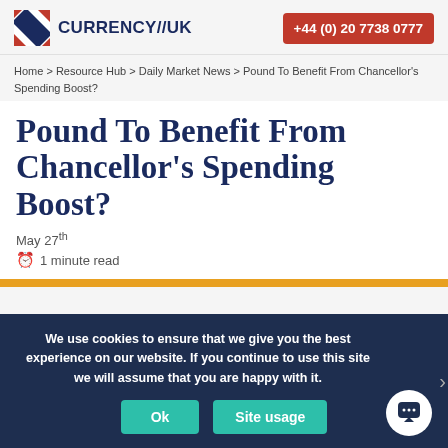CURRENCY//UK   +44 (0) 20 7738 0777
Home > Resource Hub > Daily Market News > Pound To Benefit From Chancellor's Spending Boost?
Pound To Benefit From Chancellor's Spending Boost?
May 27th
1 minute read
We use cookies to ensure that we give you the best experience on our website. If you continue to use this site we will assume that you are happy with it.